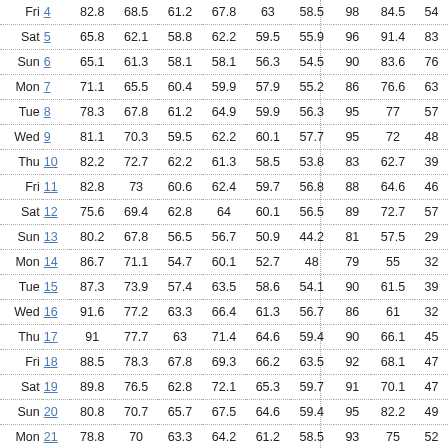| Day | Date | Col1 | Col2 | Col3 | Col4 | Col5 | Col6 | Col7 | Col8 | Col9 |
| --- | --- | --- | --- | --- | --- | --- | --- | --- | --- | --- |
| Fri | 4 | 82.8 | 68.5 | 61.2 | 67.8 | 63 | 58.5 | 98 | 84.5 | 54 |
| Sat | 5 | 65.8 | 62.1 | 58.8 | 62.2 | 59.5 | 55.9 | 96 | 91.4 | 83 |
| Sun | 6 | 65.1 | 61.3 | 58.1 | 58.1 | 56.3 | 54.5 | 90 | 83.6 | 76 |
| Mon | 7 | 71.1 | 65.5 | 60.4 | 59.9 | 57.9 | 55.2 | 86 | 76.6 | 63 |
| Tue | 8 | 78.3 | 67.8 | 61.2 | 64.9 | 59.9 | 56.3 | 95 | 77 | 57 |
| Wed | 9 | 81.1 | 70.3 | 59.5 | 62.2 | 60.1 | 57.7 | 95 | 72 | 48 |
| Thu | 10 | 82.2 | 72.7 | 62.2 | 61.3 | 58.5 | 53.8 | 83 | 62.7 | 39 |
| Fri | 11 | 82.8 | 73 | 60.6 | 62.4 | 59.7 | 56.8 | 88 | 64.6 | 46 |
| Sat | 12 | 75.6 | 69.4 | 62.8 | 64 | 60.1 | 56.5 | 89 | 72.7 | 57 |
| Sun | 13 | 80.2 | 67.8 | 56.5 | 56.7 | 50.9 | 44.2 | 81 | 57.5 | 29 |
| Mon | 14 | 86.7 | 71.1 | 54.7 | 60.1 | 52.7 | 48 | 79 | 55 | 32 |
| Tue | 15 | 87.3 | 73.9 | 57.4 | 63.5 | 58.6 | 54.1 | 90 | 61.5 | 39 |
| Wed | 16 | 91.6 | 77.2 | 63.3 | 66.4 | 61.3 | 56.7 | 86 | 61 | 32 |
| Thu | 17 | 91 | 77.7 | 63 | 71.4 | 64.6 | 59.4 | 90 | 66.1 | 45 |
| Fri | 18 | 88.5 | 78.3 | 67.8 | 69.3 | 66.2 | 63.5 | 92 | 68.1 | 47 |
| Sat | 19 | 89.8 | 76.5 | 62.8 | 72.1 | 65.3 | 59.7 | 91 | 70.1 | 47 |
| Sun | 20 | 80.8 | 70.7 | 65.7 | 67.5 | 64.6 | 59.4 | 95 | 82.2 | 49 |
| Mon | 21 | 78.8 | 70 | 63.3 | 64.2 | 61.2 | 58.5 | 93 | 75 | 52 |